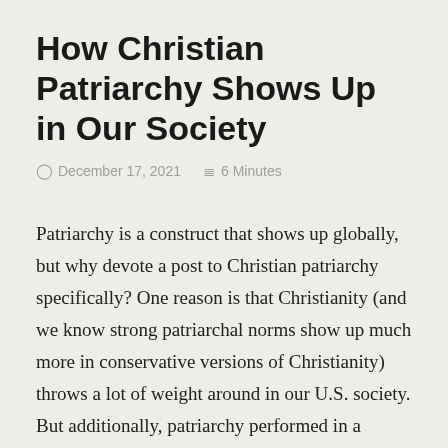How Christian Patriarchy Shows Up in Our Society
December 17, 2021   6 Minutes
Patriarchy is a construct that shows up globally, but why devote a post to Christian patriarchy specifically? One reason is that Christianity (and we know strong patriarchal norms show up much more in conservative versions of Christianity) throws a lot of weight around in our U.S. society. But additionally, patriarchy performed in a religious setting attempts to justify itself by claiming to be God-ordained. For believers, this holds much higher moral weight than other arguments—